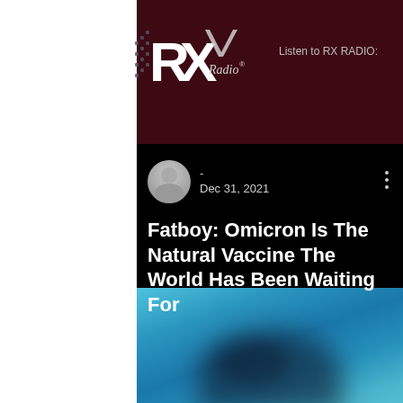Listen to RX RADIO:
[Figure (logo): RX Radio logo - white RX letters with 'Radio' script text on dark maroon background]
- 
Dec 31, 2021
Fatboy: Omicron Is The Natural Vaccine The World Has Been Waiting For
[Figure (photo): Blurred blue/teal gradient background image, possibly a sky or abstract photo]